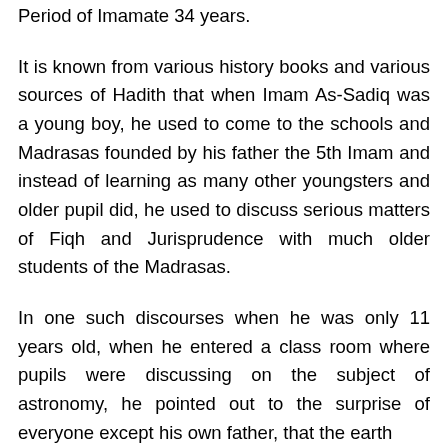Period of Imamate 34 years.
It is known from various history books and various sources of Hadith that when Imam As-Sadiq was a young boy, he used to come to the schools and Madrasas founded by his father the 5th Imam and instead of learning as many other youngsters and older pupil did, he used to discuss serious matters of Fiqh and Jurisprudence with much older students of the Madrasas.
In one such discourses when he was only 11 years old, when he entered a class room where pupils were discussing on the subject of astronomy, he pointed out to the surprise of everyone except his own father, that the earth